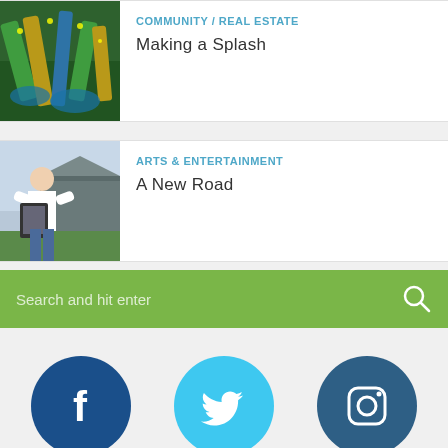[Figure (photo): Aerial view of a waterpark with colorful slides]
COMMUNITY / REAL ESTATE
Making a Splash
[Figure (photo): Man holding a framed photo outside a building]
ARTS & ENTERTAINMENT
A New Road
Search and hit enter
2,325
Likes
1,724
Followers
259
Followers